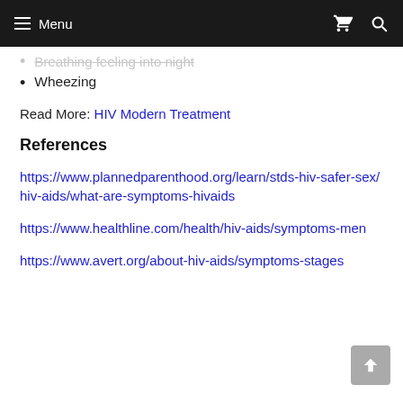Menu
Wheezing
Read More: HIV Modern Treatment
References
https://www.plannedparenthood.org/learn/stds-hiv-safer-sex/hiv-aids/what-are-symptoms-hivaids
https://www.healthline.com/health/hiv-aids/symptoms-men
https://www.avert.org/about-hiv-aids/symptoms-stages